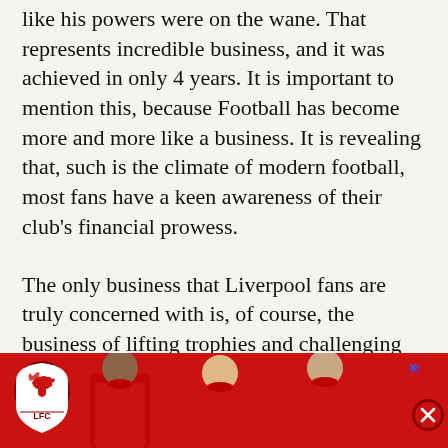like his powers were on the wane. That represents incredible business, and it was achieved in only 4 years. It is important to mention this, because Football has become more and more like a business. It is revealing that, such is the climate of modern football, most fans have a keen awareness of their club's financial prowess.
The only business that Liverpool fans are truly concerned with is, of course, the business of lifting trophies and challenging for the title. Kenny Dalglish, at his core, knows this and will feel that passion more intensely than most. While he attempts to keep expectations in
[Figure (photo): Liverpool FC advertisement banner showing players in red LFC kits with the Liverpool FC crest logo, on a red background with an X close button]